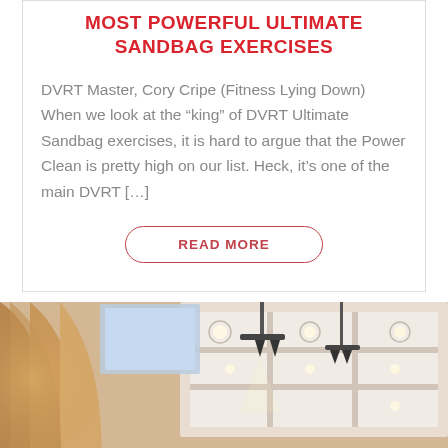MOST POWERFUL ULTIMATE SANDBAG EXERCISES
DVRT Master, Cory Cripe (Fitness Lying Down) When we look at the “king” of DVRT Ultimate Sandbag exercises, it is hard to argue that the Power Clean is pretty high on our list. Heck, it’s one of the main DVRT […]
READ MORE
[Figure (photo): Interior view of a large conference or event hall with ornate ceiling featuring recessed lighting panels, stage lighting rigs, a projection screen, and curved warm-toned wood wall panels. A speaker is partially visible at the bottom.]